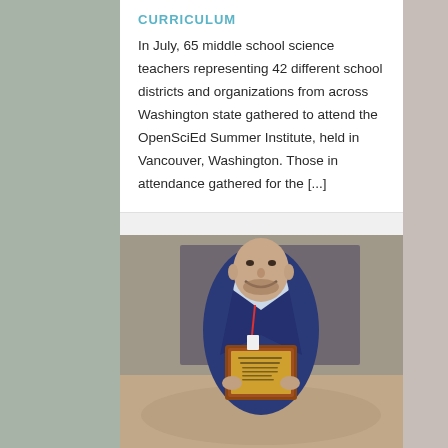CURRICULUM
In July, 65 middle school science teachers representing 42 different school districts and organizations from across Washington state gathered to attend the OpenSciEd Summer Institute, held in Vancouver, Washington. Those in attendance gathered for the [...]
[Figure (photo): A bald man with a beard wearing a navy blue suit jacket and light blue shirt, smiling and holding a wooden award plaque with gold plate, standing in what appears to be a hotel conference room.]